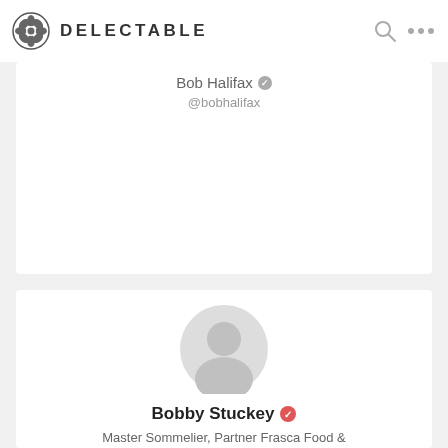DELECTABLE
Bob Halifax
@bobhalifax
[Figure (illustration): Default user avatar placeholder (grey silhouette of a person) for Bobby Stuckey]
Bobby Stuckey
Master Sommelier, Partner Frasca Food & Wine, Vintner Scarpetta Wines
@bobbystuckey